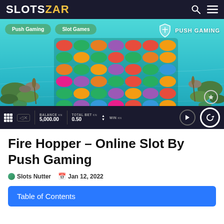SlotsZAR
[Figure (screenshot): Fire Hopper online slot game screenshot showing a 7x6 grid of colorful lotus flower symbols on a water/pond background. Breadcrumb tags: Push Gaming, Slot Games. Push Gaming logo top right. Game bar at bottom showing BALANCE 5,000.00, TOTAL BET 0.50, WIN fields.]
Fire Hopper – Online Slot By Push Gaming
Slots Nutter  Jan 12, 2022
Table of Contents